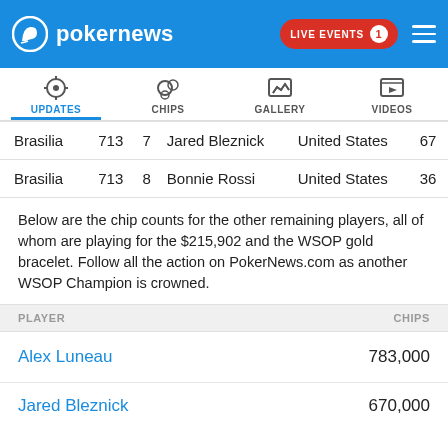pokernews — LIVE EVENTS 1
| Location | Event | Seat | Player | Country | Chips |
| --- | --- | --- | --- | --- | --- |
| Brasilia | 713 | 7 | Jared Bleznick | United States | 67... |
| Brasilia | 713 | 8 | Bonnie Rossi | United States | 36... |
Below are the chip counts for the other remaining players, all of whom are playing for the $215,902 and the WSOP gold bracelet. Follow all the action on PokerNews.com as another WSOP Champion is crowned.
| PLAYER | CHIPS |
| --- | --- |
| Alex Luneau | 783,000 |
| Jared Bleznick | 670,000 |